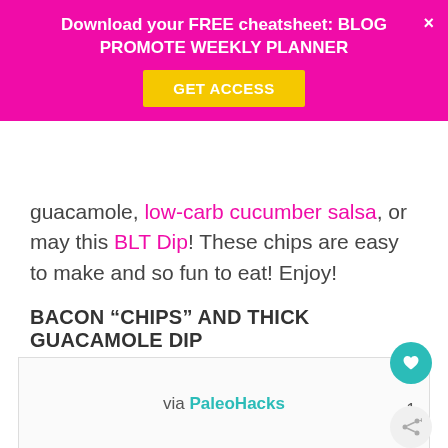Download your FREE cheatsheet: BLOG PROMOTE WEEKLY PLANNER
GET ACCESS
guacamole, low-carb cucumber salsa, or may this BLT Dip! These chips are easy to make and so fun to eat! Enjoy!
BACON “CHIPS” AND THICK GUACAMOLE DIP
via PaleoHacks